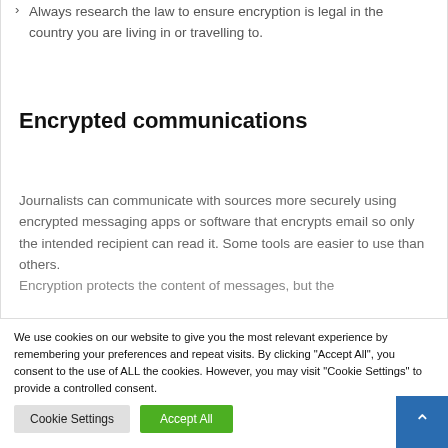Always research the law to ensure encryption is legal in the country you are living in or travelling to.
Encrypted communications
Journalists can communicate with sources more securely using encrypted messaging apps or software that encrypts email so only the intended recipient can read it. Some tools are easier to use than others. Encryption protects the content of messages, but the
We use cookies on our website to give you the most relevant experience by remembering your preferences and repeat visits. By clicking "Accept All", you consent to the use of ALL the cookies. However, you may visit "Cookie Settings" to provide a controlled consent.